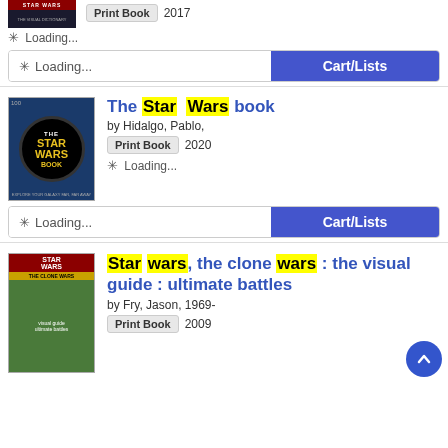[Figure (screenshot): Partial book cover for Star Wars The Visual Dictionary, dark cover, cropped at top]
Print Book  2017
Loading...
Loading...   Cart/Lists
[Figure (photo): The Star Wars Book cover with black background and yellow Star Wars logo]
The Star Wars book
by Hidalgo, Pablo,
Print Book  2020
Loading...
Loading...   Cart/Lists
[Figure (photo): Star Wars The Clone Wars book cover with animated characters]
Star wars, the clone wars : the visual guide : ultimate battles
by Fry, Jason, 1969-
Print Book  2009